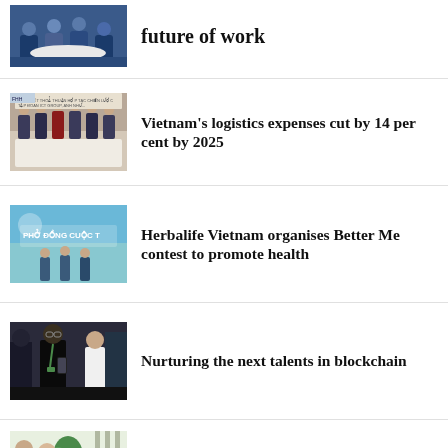future of work
[Figure (photo): People seated in a business meeting setting on blue chairs around a white table]
Vietnam's logistics expenses cut by 14 per cent by 2025
[Figure (photo): Group of officials seated at a signing ceremony table with banner in Vietnamese]
Herbalife Vietnam organises Better Me contest to promote health
[Figure (photo): Event banner reading PHO DONG CUOC in green and blue tones]
Nurturing the next talents in blockchain
[Figure (photo): Young people at a conference or networking event, man in black jacket holding phone]
Vietcetera goes all-in on AWS to grow globally
[Figure (photo): People in a bright modern office setting with plants]